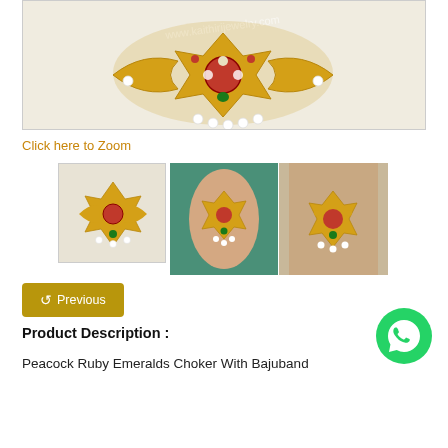[Figure (photo): Main product image of a gold Peacock Ruby Emeralds Choker With Bajuband jewelry piece with rubies, emeralds, and pearl drops on a light background. Watermark text 'www.kaithirijewelry.com' visible.]
Click here to Zoom
[Figure (photo): Thumbnail of the jewelry piece alone on white background]
[Figure (photo): Two side-by-side thumbnails showing the choker worn around a woman's neck/arm area]
Previous
Product Description :
Peacock Ruby Emeralds Choker With Bajuband
[Figure (logo): WhatsApp green circular icon]